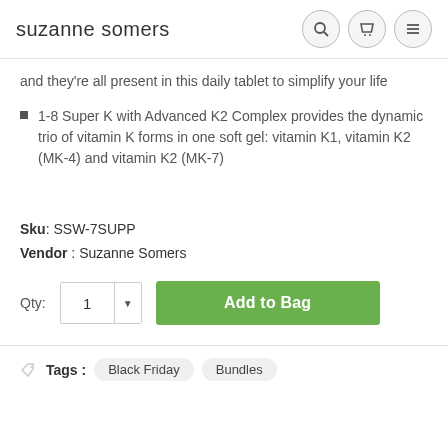suzanne somers
and they're all present in this daily tablet to simplify your life
1-8 Super K with Advanced K2 Complex provides the dynamic trio of vitamin K forms in one soft gel: vitamin K1, vitamin K2 (MK-4) and vitamin K2 (MK-7)
Sku: SSW-7SUPP
Vendor : Suzanne Somers
Qty: 1  Add to Bag
Tags : Black Friday  Bundles